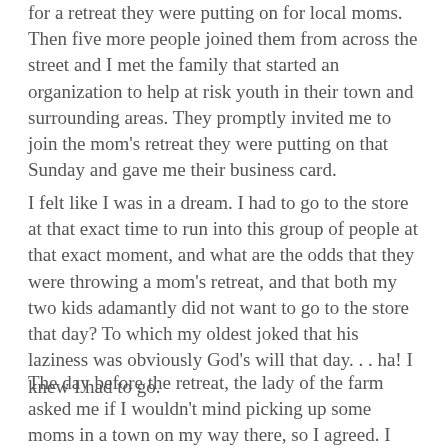for a retreat they were putting on for local moms. Then five more people joined them from across the street and I met the family that started an organization to help at risk youth in their town and surrounding areas. They promptly invited me to join the mom's retreat they were putting on that Sunday and gave me their business card.
I felt like I was in a dream. I had to go to the store at that exact time to run into this group of people at that exact moment, and what are the odds that they were throwing a mom's retreat, and that both my two kids adamantly did not want to go to the store that day? To which my oldest joked that his laziness was obviously God's will that day. . . ha! I knew I had to go.
The day before the retreat, the lady of the farm asked me if I wouldn't mind picking up some moms in a town on my way there, so I agreed. I was a little nervous. I'm not the